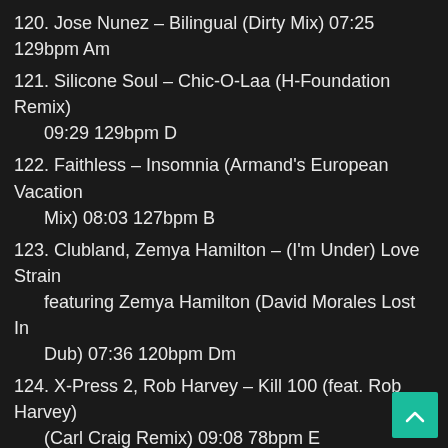120. Jose Nunez – Bilingual (Dirty Mix) 07:25 129bpm Am
121. Silicone Soul – Chic-O-Laa (H-Foundation Remix) 09:29 129bpm D
122. Faithless – Insomnia (Armand's European Vacation Mix) 08:03 127bpm B
123. Clubland, Zemya Hamilton – (I'm Under) Love Strain featuring Zemya Hamilton (David Morales Lost In Dub) 07:36 120bpm Dm
124. X-Press 2, Rob Harvey – Kill 100 (feat. Rob Harvey) (Carl Craig Remix) 09:08 78bpm E
125. Moloko – The Time Is Now (Can 7 Soulfood Mix) 03:59 129bpm Am
126. Freeform Five – No More Conversations (Mylo Extended Remix) 07:10 127bpm Dbm
127. Akabu – Another World (Andre Lodemann Mix) 05:23 125bpm F
128. Marshall Jefferson, Noosa Heads – Mushrooms ( Justin Martin Mix) 08:26 125bpm Dbm